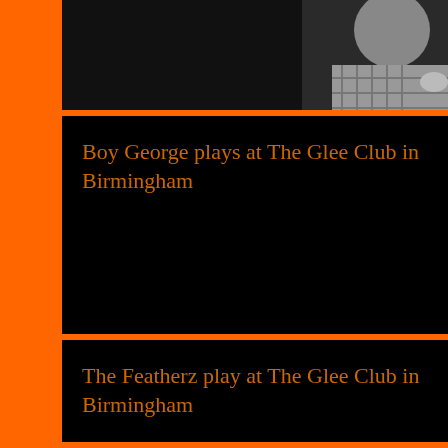[Figure (photo): Black and white photo of a person (Boy George) partially visible at top of page]
Boy George plays at The Glee Club in Birmingham
The Featherz play at The Glee Club in Birmingham